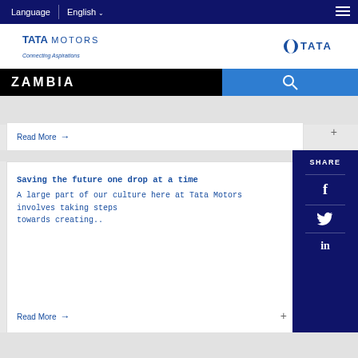Language  English
[Figure (logo): Tata Motors logo with tagline 'Connecting Aspirations' and Tata Group logo]
ZAMBIA
Read More →
Saving the future one drop at a time
A large part of our culture here at Tata Motors involves taking steps towards creating..
Read More →